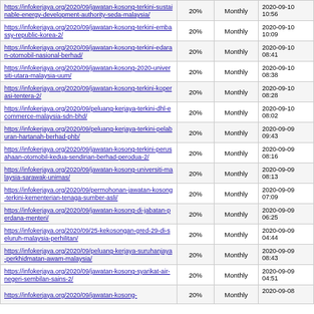| URL | Priority | Change Frequency | Last Modified |
| --- | --- | --- | --- |
| https://infokerjaya.org/2020/09/jawatan-kosong-terkini-sustainable-energy-development-authority-seda-malaysia/ | 20% | Monthly | 2020-09-10 10:56 |
| https://infokerjaya.org/2020/09/jawatan-kosong-terkini-embassy-republic-korea-2/ | 20% | Monthly | 2020-09-10 10:09 |
| https://infokerjaya.org/2020/09/jawatan-kosong-terkini-edaran-otomobil-nasional-berhad/ | 20% | Monthly | 2020-09-10 08:41 |
| https://infokerjaya.org/2020/09/jawatan-kosong-2020-universiti-utara-malaysia-uum/ | 20% | Monthly | 2020-09-10 08:38 |
| https://infokerjaya.org/2020/09/jawatan-kosong-terkini-koperasi-tentera-2/ | 20% | Monthly | 2020-09-10 08:28 |
| https://infokerjaya.org/2020/09/peluang-kerjaya-terkini-dhl-ecommerce-malaysia-sdn-bhd/ | 20% | Monthly | 2020-09-10 08:02 |
| https://infokerjaya.org/2020/09/peluang-kerjaya-terkini-pelaburan-hartanah-berhad-phb/ | 20% | Monthly | 2020-09-09 09:43 |
| https://infokerjaya.org/2020/09/jawatan-kosong-terkini-perusahaan-otomobil-kedua-sendirian-berhad-perodua-2/ | 20% | Monthly | 2020-09-09 08:16 |
| https://infokerjaya.org/2020/09/jawatan-kosong-universiti-malaysia-sarawak-unimas/ | 20% | Monthly | 2020-09-09 08:13 |
| https://infokerjaya.org/2020/09/permohonan-jawatan-kosong-terkini-kementerian-tenaga-sumber-asli/ | 20% | Monthly | 2020-09-09 07:09 |
| https://infokerjaya.org/2020/09/jawatan-kosong-di-jabatan-perdana-menteri/ | 20% | Monthly | 2020-09-09 06:25 |
| https://infokerjaya.org/2020/09/25-kekosongan-gred-29-di-seluruh-malaysia-perhilitan/ | 20% | Monthly | 2020-09-09 04:44 |
| https://infokerjaya.org/2020/09/peluang-kerjaya-suruhanjaya-perkhidmatan-awam-malaysia/ | 20% | Monthly | 2020-09-09 08:43 |
| https://infokerjaya.org/2020/09/jawatan-kosong-syarikat-air-negeri-sembilan-sains-2/ | 20% | Monthly | 2020-09-09 04:51 |
| https://infokerjaya.org/2020/09/jawatan-kosong- | 20% | Monthly | 2020-09-08 ... |